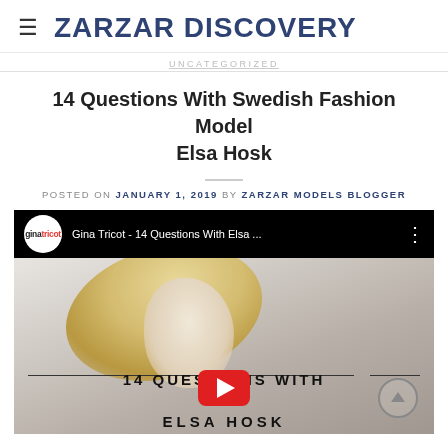ZARZAR DISCOVERY
UNCATEGORIZED
14 Questions With Swedish Fashion Model Elsa Hosk
POSTED ON JANUARY 1, 2019 BY ZARZAR MODELS BLOGGER
[Figure (screenshot): Embedded YouTube video player showing Gina Tricot - 14 Questions With Elsa ... with a thumbnail of model Elsa Hosk and overlaid text '14 QUESTIONS WITH ELSA HOSK' with a YouTube play button]